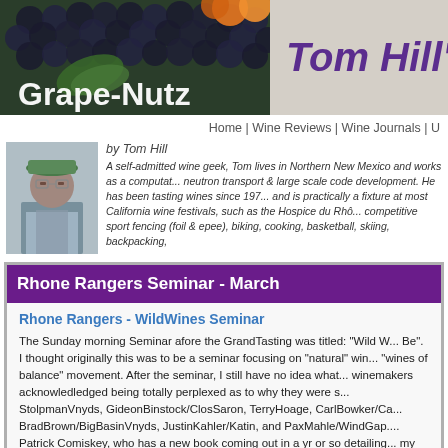[Figure (logo): Grape-Nutz website logo with dark grape background and handwritten white text]
Tom Hill's
Home | Wine Reviews | Wine Journals | U
by Tom Hill
[Figure (photo): Photo of Tom Hill wearing a cap and glasses]
A self-admitted wine geek, Tom lives in Northern New Mexico and works as a computat... neutron transport & large scale code development. He has been tasting wines since 197... and is practically a fixture at most California wine festivals, such as the Hospice du Rhô... competitive sport fencing (foil & epee), biking, cooking, basketball, skiing, backpacking,
Rhone Rangers Seminar - March
Rhone Rangers - WildWines Seminar
The Sunday morning Seminar afore the GrandTasting was titled: "Wild W... Be". I thought originally this was to be a seminar focusing on "natural" win... "wines of balance" movement. After the seminar, I still have no idea what... winemakers acknowledledged being totally perplexed as to why they were s... StolpmanVnyds, GideonBinstock/ClosSaron, TerryHoage, CarlBowker/Ca... BradBrown/BigBasinVnyds, JustinKahler/Katin, and PaxMahle/WindGap.... Patrick Comiskey, who has a new book coming out in a yr or so detailing... my favorite wine writers and it should be a fascinating read. I'm hoping he... and clue me in to what a "wild wine" exactly is. Apparently, the winmaker... seminar and they were then selected by some unknown/unseen/mysterio...